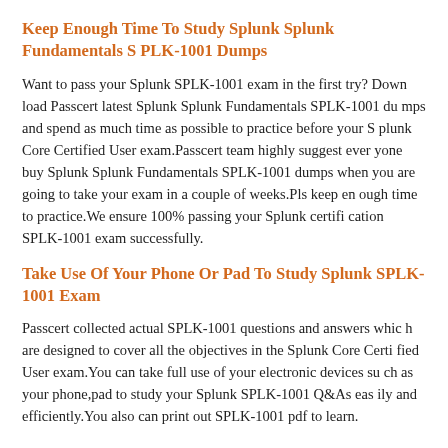Keep Enough Time To Study Splunk Splunk Fundamentals SPLK-1001 Dumps
Want to pass your Splunk SPLK-1001 exam in the first try? Download Passcert latest Splunk Splunk Fundamentals SPLK-1001 dumps and spend as much time as possible to practice before your Splunk Core Certified User exam.Passcert team highly suggest everyone buy Splunk Splunk Fundamentals SPLK-1001 dumps when you are going to take your exam in a couple of weeks.Pls keep enough time to practice.We ensure 100% passing your Splunk certification SPLK-1001 exam successfully.
Take Use Of Your Phone Or Pad To Study Splunk SPLK-1001 Exam
Passcert collected actual SPLK-1001 questions and answers which are designed to cover all the objectives in the Splunk Core Certified User exam.You can take full use of your electronic devices such as your phone,pad to study your Splunk SPLK-1001 Q&As easily and efficiently.You also can print out SPLK-1001 pdf to learn.